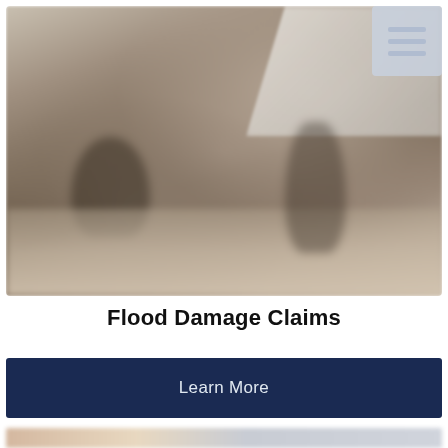[Figure (photo): Blurred outdoor scene showing figures working amid flood or construction damage, with a white building structure visible in the upper right and debris/rubble on the ground.]
Flood Damage Claims
Learn More
[Figure (photo): Partial blurred image visible at the bottom of the page, appears to be another property scene.]